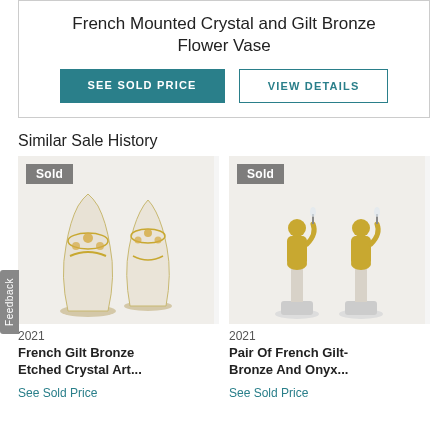French Mounted Crystal and Gilt Bronze Flower Vase
SEE SOLD PRICE
VIEW DETAILS
Similar Sale History
[Figure (photo): Two French gilt bronze etched crystal art glass vases with gold floral decoration, with 'Sold' badge overlay, year 2021]
2021
French Gilt Bronze Etched Crystal Art...
See Sold Price
[Figure (photo): Pair of French gilt-bronze and onyx figurines of cherubs/putti on pedestal bases, with 'Sold' badge overlay, year 2021]
2021
Pair Of French Gilt-Bronze And Onyx...
See Sold Price